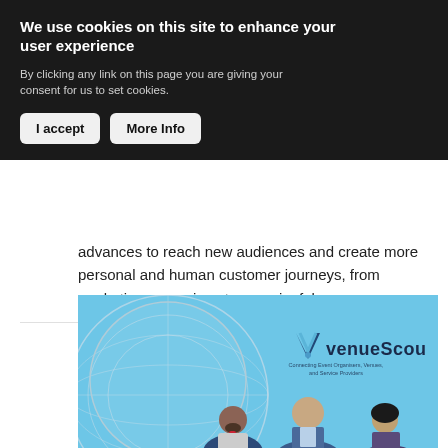We use cookies on this site to enhance your user experience
By clicking any link on this page you are giving your consent for us to set cookies.
I accept | More Info
advances to reach new audiences and create more personal and human customer journeys, from marketing campaigns to meaningful... more
[Figure (illustration): venueScout logo and branding image showing three illustrated business people in front of a large globe/window structure. Text reads: venueScou[t], Connecting Event Organisers, Venues, and Service Providers]